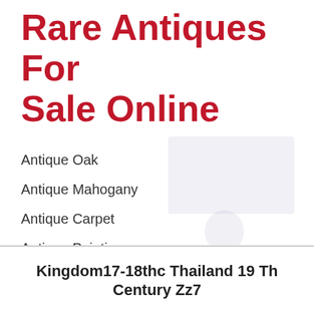Rare Antiques For Sale Online
Antique Oak
Antique Mahogany
Antique Carpet
Antique Painting
Antique Glass
Antique Plate
[Figure (photo): Faint watermark image of a bronze Buddha statue silhouette in the background]
Rare Bronze Buddha Statue Lanna Kingdom17-18thc Thailand 19 Th Century Zz7
Kingdom17-18thc Thailand 19 Th Century Zz7